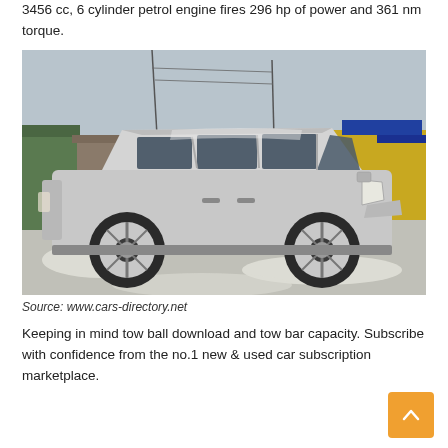3456 cc, 6 cylinder petrol engine fires 296 hp of power and 361 nm torque.
[Figure (photo): Side profile photograph of a silver Toyota Alphard minivan parked on a snowy surface with industrial buildings and a yellow truck visible in the background.]
Source: www.cars-directory.net
Keeping in mind tow ball download and tow bar capacity. Subscribe with confidence from the no.1 new & used car subscription marketplace.